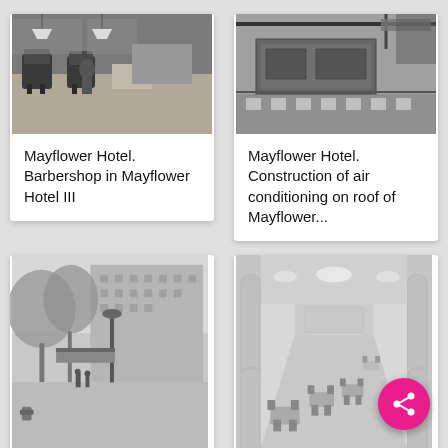[Figure (photo): Black and white photograph of a barbershop interior at the Mayflower Hotel, showing barber chairs and equipment]
Mayflower Hotel. Barbershop in Mayflower Hotel III
[Figure (photo): Black and white photograph of construction of air conditioning equipment on the roof of the Mayflower Hotel]
Mayflower Hotel. Construction of air conditioning on roof of Mayflower...
[Figure (photo): Black and white photograph of the exterior street view of the Mayflower Hotel with trees and a lamp post in foreground]
[Figure (photo): Black and white photograph of a long interior hall or dining room of the Mayflower Hotel with chairs and arched details]